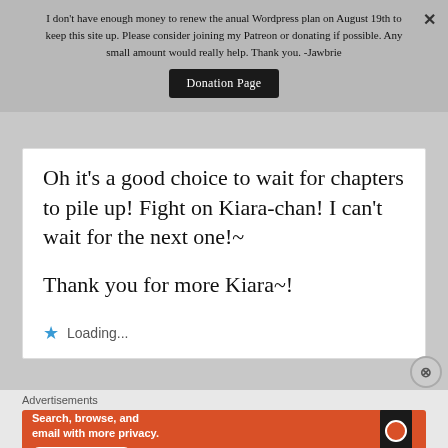I don't have enough money to renew the anual Wordpress plan on August 19th to keep this site up. Please consider joining my Patreon or donating if possible. Any small amount would really help. Thank you. -Jawbrie
Donation Page
Oh it's a good choice to wait for chapters to pile up! Fight on Kiara-chan! I can't wait for the next one!~
Thank you for more Kiara~!
Loading...
Advertisements
[Figure (screenshot): DuckDuckGo advertisement banner with orange background showing 'Search, browse, and email with more privacy. All in One Free App' text with a phone graphic and DuckDuckGo logo]